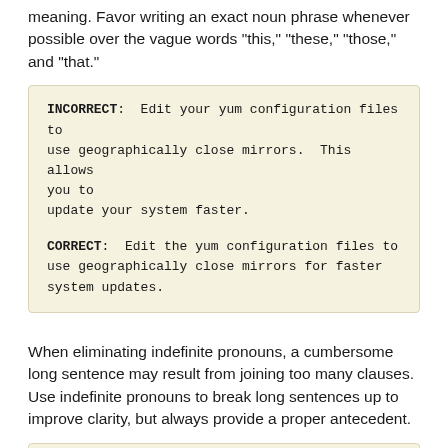meaning. Favor writing an exact noun phrase whenever possible over the vague words "this," "these," "those," and "that."
INCORRECT:  Edit your yum configuration files to use geographically close mirrors.  This allows you to
update your system faster.

CORRECT:  Edit the yum configuration files to use geographically close mirrors for faster system updates.
When eliminating indefinite pronouns, a cumbersome long sentence may result from joining too many clauses. Use indefinite pronouns to break long sentences up to improve clarity, but always provide a proper antecedent.
INCORRECT: Stay current with recommended updates to your operating system in order to improve functionality of
applications, remove security risks, and